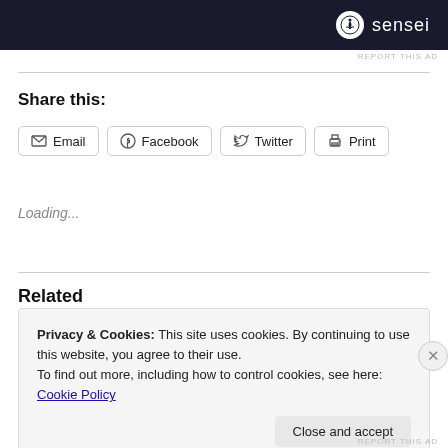[Figure (other): Ad banner with dark background showing sensei logo (tree icon in white circle and 'sensei' text)]
REPORT THIS AD
Share this:
Email  Facebook  Twitter  Print
Loading...
Related
Privacy & Cookies: This site uses cookies. By continuing to use this website, you agree to their use.
To find out more, including how to control cookies, see here: Cookie Policy
Close and accept